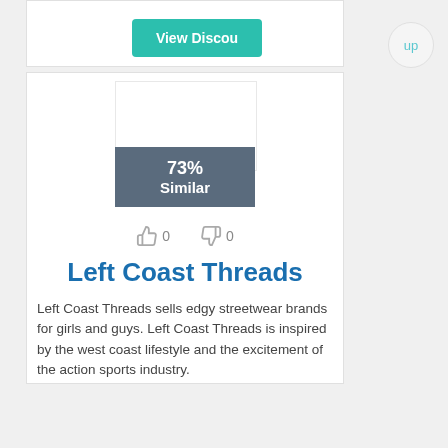[Figure (screenshot): Partially visible 'View Discou[nt]' teal button at top of page]
up
[Figure (screenshot): Product image placeholder (white box) with '73% Similar' grey overlay badge]
73% Similar
0  0
Left Coast Threads
Left Coast Threads sells edgy streetwear brands for girls and guys. Left Coast Threads is inspired by the west coast lifestyle and the excitement of the action sports industry.
Similar Stores • Locations
Shop Onlin[e]